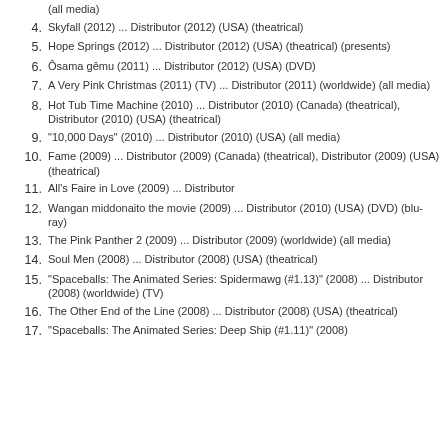(all media)
4. Skyfall (2012) ... Distributor (2012) (USA) (theatrical)
5. Hope Springs (2012) ... Distributor (2012) (USA) (theatrical) (presents)
6. Ôsama gêmu (2011) ... Distributor (2012) (USA) (DVD)
7. A Very Pink Christmas (2011) (TV) ... Distributor (2011) (worldwide) (all media)
8. Hot Tub Time Machine (2010) ... Distributor (2010) (Canada) (theatrical), Distributor (2010) (USA) (theatrical)
9. "10,000 Days" (2010) ... Distributor (2010) (USA) (all media)
10. Fame (2009) ... Distributor (2009) (Canada) (theatrical), Distributor (2009) (USA) (theatrical)
11. All's Faire in Love (2009) ... Distributor
12. Wangan middonaito the movie (2009) ... Distributor (2010) (USA) (DVD) (blu-ray)
13. The Pink Panther 2 (2009) ... Distributor (2009) (worldwide) (all media)
14. Soul Men (2008) ... Distributor (2008) (USA) (theatrical)
15. "Spaceballs: The Animated Series: Spidermawg (#1.13)" (2008) ... Distributor (2008) (worldwide) (TV)
16. The Other End of the Line (2008) ... Distributor (2008) (USA) (theatrical)
17. "Spaceballs: The Animated Series: Deep Ship (#1.11)" (2008)